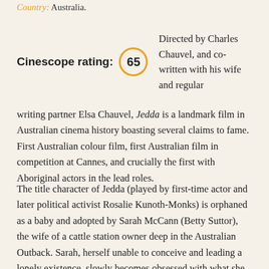Country: Australia.
Cinescope rating: 65 — Directed by Charles Chauvel, and co-written with his wife and regular writing partner Elsa Chauvel, Jedda is a landmark film in Australian cinema history boasting several claims to fame. First Australian colour film, first Australian film in competition at Cannes, and crucially the first with Aboriginal actors in the lead roles.
The title character of Jedda (played by first-time actor and later political activist Rosalie Kunoth-Monks) is orphaned as a baby and adopted by Sarah McCann (Betty Suttor), the wife of a cattle station owner deep in the Australian Outback. Sarah, herself unable to conceive and leading a lonely existence, slowly becomes obsessed with what she sees as her mission to raise this little Aboriginal girl as a well-mannered, cultivated 'white' girl. Thus, Jedda is kept